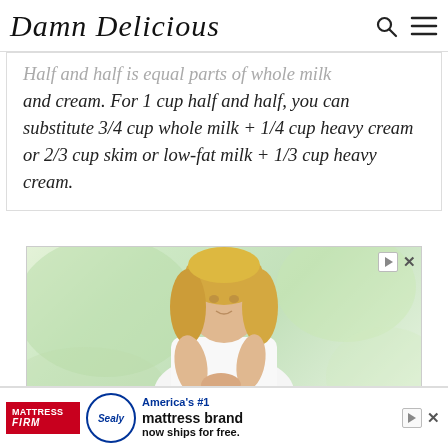Damn Delicious
Half and half is equal parts of whole milk and cream. For 1 cup half and half, you can substitute 3/4 cup whole milk + 1/4 cup heavy cream or 2/3 cup skim or low-fat milk + 1/3 cup heavy cream.
[Figure (photo): Advertisement image showing a young blonde woman in a white sleeveless top looking down at her hands against a blurred green background]
[Figure (photo): MattressFirm advertisement banner: America's #1 mattress brand now ships for free, featuring Sealy logo]